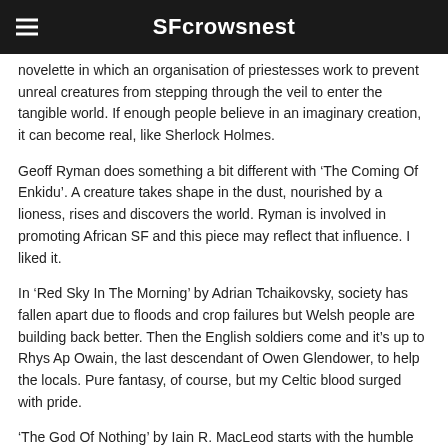SFcrowsnest
novelette in which an organisation of priestesses work to prevent unreal creatures from stepping through the veil to enter the tangible world. If enough people believe in an imaginary creation, it can become real, like Sherlock Holmes.
Geoff Ryman does something a bit different with ‘The Coming Of Enkidu’. A creature takes shape in the dust, nourished by a lioness, rises and discovers the world. Ryman is involved in promoting African SF and this piece may reflect that influence. I liked it.
In ‘Red Sky In The Morning’ by Adrian Tchaikovsky, society has fallen apart due to floods and crop failures but Welsh people are building back better. Then the English soldiers come and it’s up to Rhys Ap Owain, the last descendant of Owen Glendower, to help the locals. Pure fantasy, of course, but my Celtic blood surged with pride.
‘The God Of Nothing’ by Iain R. MacLeod starts with the humble Chief Administrator being summoned by the king and told to work out an accurate system whereby tariffs, henceforth just one-tenth of what the people produce, can be accurately tallied. The current system is too primitive.
Clueless about how to do this, the Chief Administrator seeks help amid the temples to various gods on a nearby mountain. He stumble